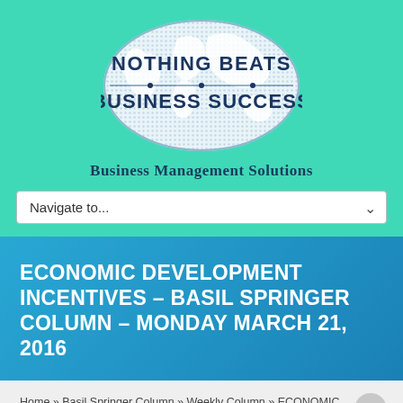[Figure (logo): Nothing Beats Business Success logo — oval shape with world map dots, text 'NOTHING BEATS BUSINESS SUCCESS' in bold dark navy on teal/white background]
Business Management Solutions
Navigate to...
ECONOMIC DEVELOPMENT INCENTIVES – BASIL SPRINGER COLUMN – MONDAY MARCH 21, 2016
Home » Basil Springer Column » Weekly Column » ECONOMIC DEVELOPMENT INCENTIVES – BASIL SPRINGER COLUMN – MONDAY MARCH 21, 2016